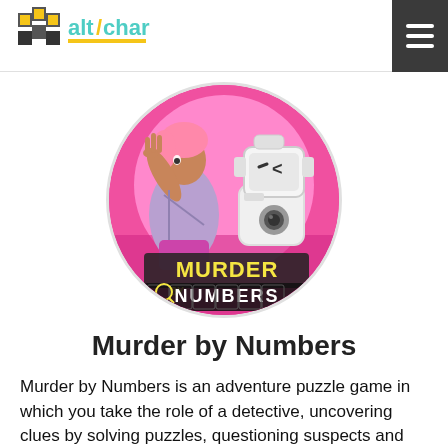AltChar
[Figure (illustration): Circular game cover art for Murder by Numbers showing an animated female character with pink hair raising her hand, a cute robot with camera, and the text MURDER BY NUMBERS in yellow and black lettering, on a pink background]
Murder by Numbers
Murder by Numbers is an adventure puzzle game in which you take the role of a detective, uncovering clues by solving puzzles, questioning suspects and solving the mystery.